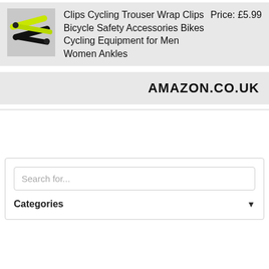[Figure (photo): Product image showing yellow-green and black cycling trouser clips/wraps]
Clips Cycling Trouser Wrap Clips Bicycle Safety Accessories Bikes Cycling Equipment for Men Women Ankles
Price: £5.99
AMAZON.CO.UK
Search for...
Categories